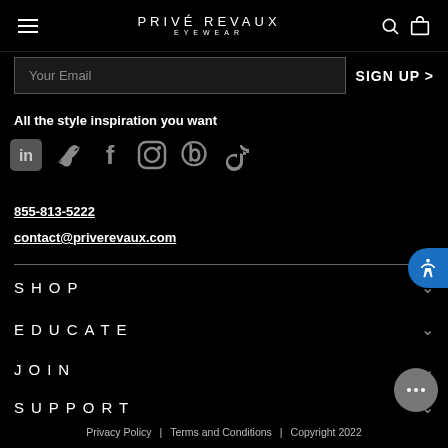PRIVÉ REVAUX EYEWEAR
Your Email
SIGN UP >
All the style inspiration you want
[Figure (infographic): Social media icons row: LinkedIn, Twitter, Facebook, Instagram, Pinterest, TikTok]
855-813-5222
contact@priverevaux.com
SHOP
EDUCATE
JOIN
SUPPORT
Privacy Policy | Terms and Conditions | Copyright 2022